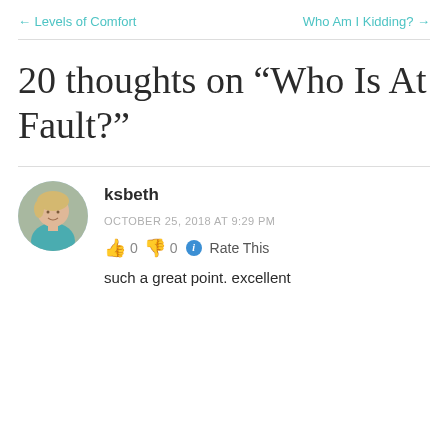← Levels of Comfort    Who Am I Kidding? →
20 thoughts on “Who Is At Fault?”
ksbeth
OCTOBER 25, 2018 AT 9:29 PM
👍 0 👎 0 ℹ Rate This
such a great point. excellent